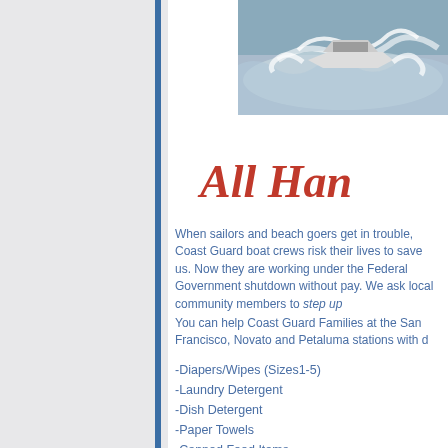[Figure (photo): Coast Guard boat speeding through rough ocean waves]
All Han
When sailors and beach goers get in trouble, Coast Guard boat crews risk their lives to save us. Now they are working under the Federal Government shutdown without pay. We ask local community members to step up
You can help Coast Guard Families at the San Francisco, Novato and Petaluma stations with d
-Diapers/Wipes (Sizes1-5)
-Laundry Detergent
-Dish Detergent
-Paper Towels
-Canned Food Items
-Peanut Butter
-Jelly